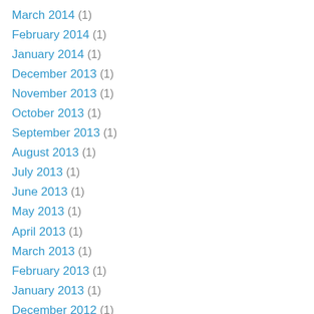March 2014 (1)
February 2014 (1)
January 2014 (1)
December 2013 (1)
November 2013 (1)
October 2013 (1)
September 2013 (1)
August 2013 (1)
July 2013 (1)
June 2013 (1)
May 2013 (1)
April 2013 (1)
March 2013 (1)
February 2013 (1)
January 2013 (1)
December 2012 (1)
November 2012 (1)
October 2012 (1)
September 2012 (1)
August 2012 (1)